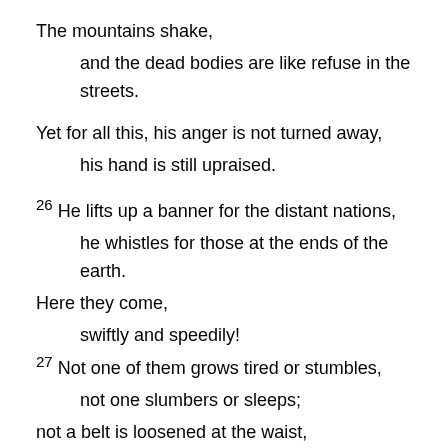The mountains shake,
and the dead bodies are like refuse in the streets.
Yet for all this, his anger is not turned away,
his hand is still upraised.
26 He lifts up a banner for the distant nations,
he whistles for those at the ends of the earth.
Here they come,
swiftly and speedily!
27 Not one of them grows tired or stumbles,
not one slumbers or sleeps;
not a belt is loosened at the waist,
not a sandal strap is broken.
28 Their arrows are sharp,